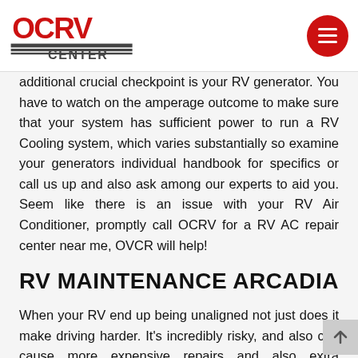OCRV Center logo and navigation menu button
additional crucial checkpoint is your RV generator. You have to watch on the amperage outcome to make sure that your system has sufficient power to run a RV Cooling system, which varies substantially so examine your generators individual handbook for specifics or call us up and also ask among our experts to aid you. Seem like there is an issue with your RV Air Conditioner, promptly call OCRV for a RV AC repair center near me, OVCR will help!
RV MAINTENANCE ARCADIA
When your RV end up being unaligned not just does it make driving harder. It's incredibly risky, and also can cause more expensive repairs and also extra maintenance. Having your tires out of alignment creates undesirable irregular tire wear, inconsistent wanted gas mileage, much less responsive steering action, that will build up in the long run. Your ideal course of action is to prevent these